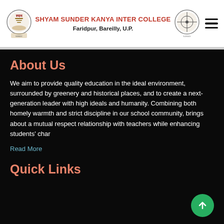SHYAM SUNDER KANYA INTER COLLEGE
Faridpur, Bareilly, U.P.
About Us
We aim to provide quality education in the ideal environment, surrounded by greenery and historical places, and to create a next-generation leader with high ideals and humanity. Combining both homely warmth and strict discipline in our school community, brings about a mutual respect relationship with teachers while enhancing students' char
Read More
Quick Links